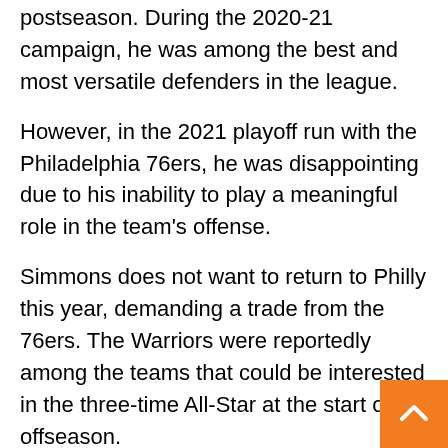postseason. During the 2020-21 campaign, he was among the best and most versatile defenders in the league.
However, in the 2021 playoff run with the Philadelphia 76ers, he was disappointing due to his inability to play a meaningful role in the team's offense.
Simmons does not want to return to Philly this year, demanding a trade from the 76ers. The Warriors were reportedly among the teams that could be interested in the three-time All-Star at the start of the offseason.
The Warriors' governor Joe Lacob denied that the franchise will make any move for Simmons, as the